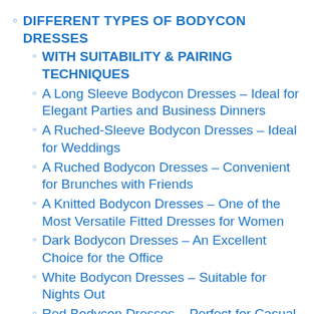DIFFERENT TYPES OF BODYCON DRESSES
WITH SUITABILITY & PAIRING TECHNIQUES
A Long Sleeve Bodycon Dresses – Ideal for Elegant Parties and Business Dinners
A Ruched-Sleeve Bodycon Dresses – Ideal for Weddings
A Ruched Bodycon Dresses – Convenient for Brunches with Friends
A Knitted Bodycon Dresses – One of the Most Versatile Fitted Dresses for Women
Dark Bodycon Dresses – An Excellent Choice for the Office
White Bodycon Dresses – Suitable for Nights Out
Red Bodycon Dresses – Perfect for Casual